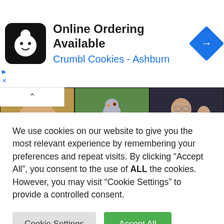[Figure (screenshot): Advertisement banner for Crumbl Cookies - Ashburn showing a cookie chef logo icon, text 'Online Ordering Available' and 'Crumbl Cookies - Ashburn', with a blue navigation diamond icon on the right. Small 'D' and 'X' labels on the left side.]
[Figure (photo): Image grid showing 6 photos: top row - woman with jewelry/bracelets, pigeon on green surface, man gesturing; bottom row - woman in leather jacket with sunglasses, bottle of NITYA Essential Oil Lavender, rifle scope/optic]
We use cookies on our website to give you the most relevant experience by remembering your preferences and repeat visits. By clicking “Accept All”, you consent to the use of ALL the cookies. However, you may visit "Cookie Settings" to provide a controlled consent.
Cookie Settings
Accept All